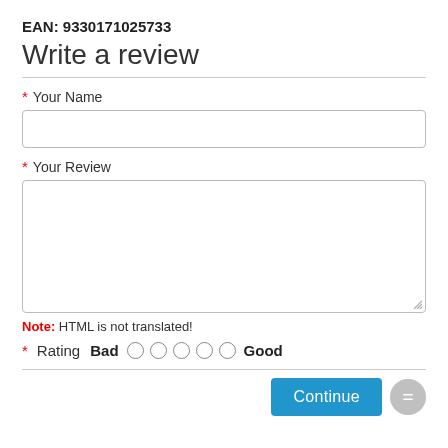EAN: 9330171025733
Write a review
* Your Name
* Your Review
Note: HTML is not translated!
* Rating  Bad  ○ ○ ○ ○ ○  Good
Continue